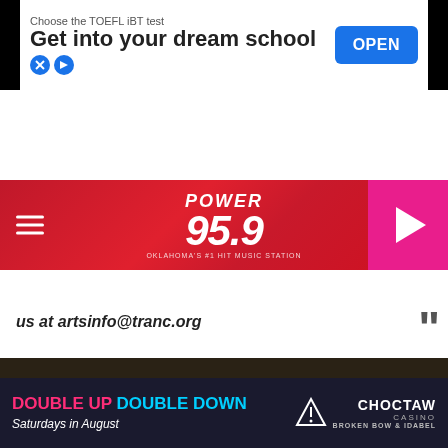[Figure (screenshot): Advertisement banner: Choose the TOEFL iBT test, Get into your dream school, OPEN button]
[Figure (logo): Power 95.9 radio station logo with hamburger menu and play button]
LISTEN NOW ▶  DRIVE HOME WITH DEANNA
[Figure (screenshot): Share and Tweet social media buttons]
us at artsinfo@tranc.org
[Figure (photo): Close-up photograph of a patchwork quilt with dark and earth-toned fabric squares]
[Figure (screenshot): Advertisement: DOUBLE UP DOUBLE DOWN Saturdays in August, Choctaw Casino Broken Bow & Idabel]